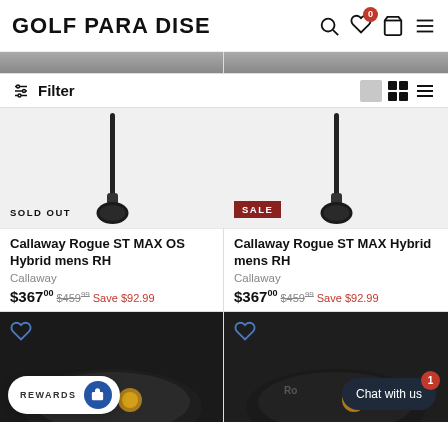GOLF PARADISE
Filter
[Figure (photo): Callaway Rogue ST MAX OS Hybrid golf club head on white background with SOLD OUT label]
Callaway Rogue ST MAX OS Hybrid mens RH
Callaway
$367.00  $459.99  Save $92.99
[Figure (photo): Callaway Rogue ST MAX Hybrid golf club head on white background with SALE label]
Callaway Rogue ST MAX Hybrid mens RH
Callaway
$367.00  $459.99  Save $92.99
[Figure (photo): Partial bottom section showing golf club drivers and REWARDS button and Chat with us bubble]